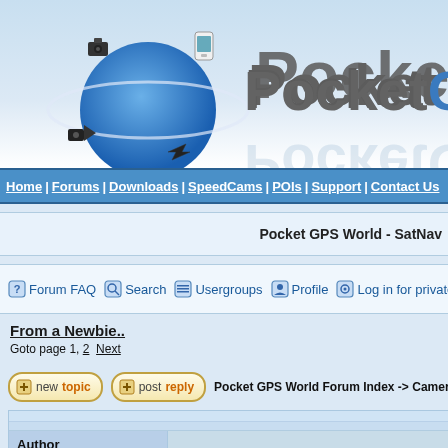[Figure (logo): PocketGPSWorld logo with blue globe, orbiting devices (camera, phone, speaker), and large grey text 'PocketGPSW' (truncated)]
Home | Forums | Downloads | SpeedCams | POIs | Support | Contact Us
Pocket GPS World - SatNav
Forum FAQ  Search  Usergroups  Profile  Log in for private
From a Newbie..
Goto page 1, 2  Next
Pocket GPS World Forum Index -> CamerA
| Author |  |
| --- | --- |